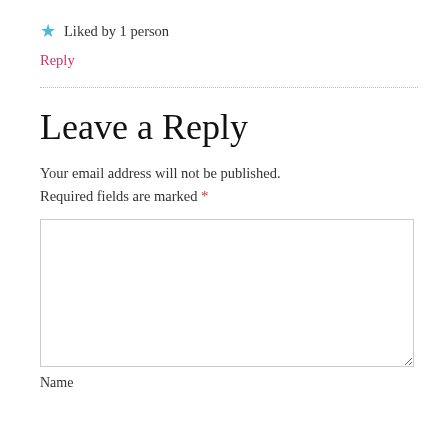★ Liked by 1 person
Reply
Leave a Reply
Your email address will not be published.
Required fields are marked *
[Figure (other): Comment text area input box]
Name